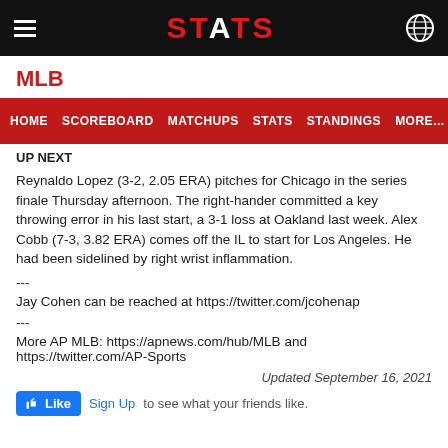STATS
MLB
HOME  SCOREBOARD  MATCHUPS  STATS  STANDINGS  MORE...
UP NEXT
Reynaldo Lopez (3-2, 2.05 ERA) pitches for Chicago in the series finale Thursday afternoon. The right-hander committed a key throwing error in his last start, a 3-1 loss at Oakland last week. Alex Cobb (7-3, 3.82 ERA) comes off the IL to start for Los Angeles. He had been sidelined by right wrist inflammation.
---
Jay Cohen can be reached at https://twitter.com/jcohenap
---
More AP MLB: https://apnews.com/hub/MLB and https://twitter.com/AP-Sports
Updated September 16, 2021
Like  Sign Up to see what your friends like.